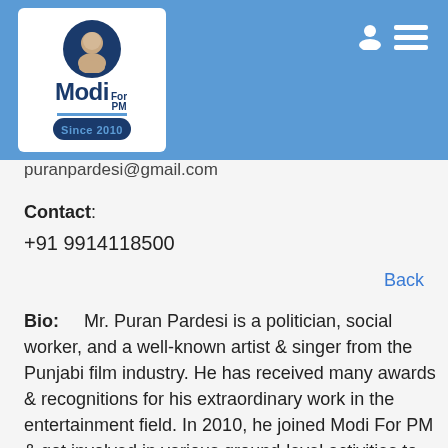[Figure (logo): Modi For PM Since 2010 logo with portrait silhouette on white rounded rectangle background]
puranpardesi@gmail.com
Contact: +91 9914118500
Back
Bio: Mr. Puran Pardesi is a politician, social worker, and a well-known artist & singer from the Punjabi film industry. He has received many awards & recognitions for his extraordinary work in the entertainment field. In 2010, he joined Modi For PM & got involved in various ground-level activities to serve the people of his city, state & nation. And since then, he has been actively involved in many philanthropic activities like organizing blood donation camps & tree plantation drives, providing essentials school supplies to underprivileged children & creating